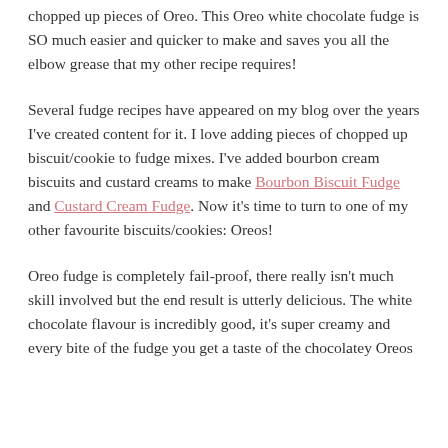chopped up pieces of Oreo. This Oreo white chocolate fudge is SO much easier and quicker to make and saves you all the elbow grease that my other recipe requires!
Several fudge recipes have appeared on my blog over the years I've created content for it. I love adding pieces of chopped up biscuit/cookie to fudge mixes. I've added bourbon cream biscuits and custard creams to make Bourbon Biscuit Fudge and Custard Cream Fudge. Now it's time to turn to one of my other favourite biscuits/cookies: Oreos!
Oreo fudge is completely fail-proof, there really isn't much skill involved but the end result is utterly delicious. The white chocolate flavour is incredibly good, it's super creamy and every bite of the fudge you get a taste of the chocolatey Oreos...